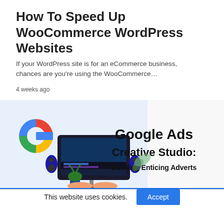How To Speed Up WooCommerce WordPress Websites
If your WordPress site is for an eCommerce business, chances are you're using the WooCommerce…
4 weeks ago
[Figure (illustration): Google Ads Creative Studio: Building Enticing Adverts — promotional banner with Google logo, desktop monitor with video editing interface, speakers, plants, and bold text on right side.]
This website uses cookies.
[Figure (infographic): Social sharing bar with Twitter, Gmail (M), Pinterest, LinkedIn, and WhatsApp icons in colored blocks.]